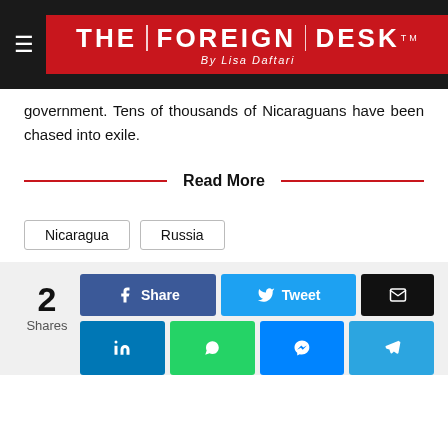THE FOREIGN DESK By Lisa Daftari
government. Tens of thousands of Nicaraguans have been chased into exile.
Read More
Nicaragua
Russia
2 Shares
Share  Tweet